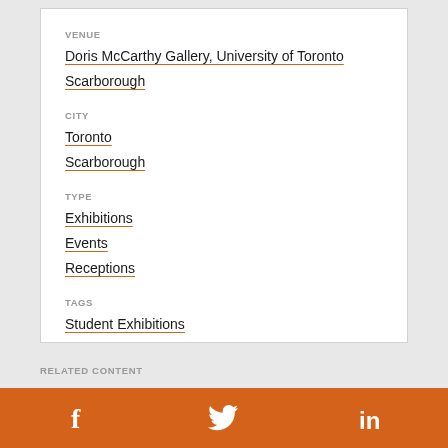VENUE
Doris McCarthy Gallery, University of Toronto
Scarborough
CITY
Toronto
Scarborough
TYPE
Exhibitions
Events
Receptions
TAGS
Student Exhibitions
RELATED CONTENT
[Figure (infographic): Orange footer bar with social media icons: Facebook (f), Twitter (bird), LinkedIn (in)]